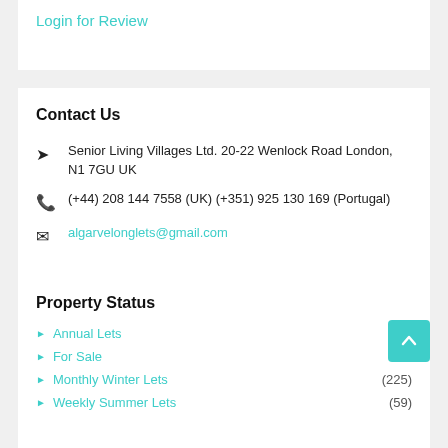Login for Review
Contact Us
Senior Living Villages Ltd. 20-22 Wenlock Road London, N1 7GU UK
(+44) 208 144 7558 (UK) (+351) 925 130 169 (Portugal)
algarvelonglets@gmail.com
Property Status
Annual Lets (96)
For Sale
Monthly Winter Lets (225)
Weekly Summer Lets (59)